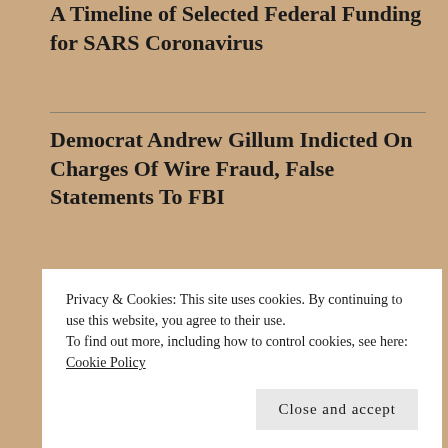A Timeline of Selected Federal Funding for SARS Coronavirus
Democrat Andrew Gillum Indicted On Charges Of Wire Fraud, False Statements To FBI
CALENDAR
May 2021
Privacy & Cookies: This site uses cookies. By continuing to use this website, you agree to their use.
To find out more, including how to control cookies, see here: Cookie Policy